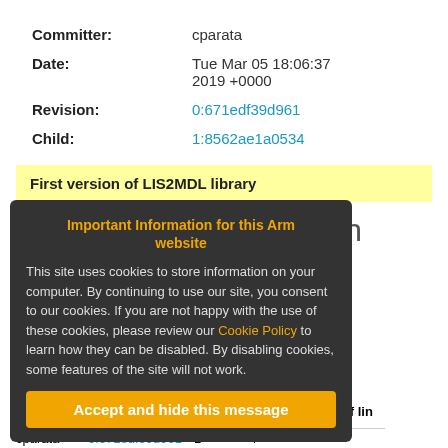| Field | Value |
| --- | --- |
| Committer: | cparata |
| Date: | Tue Mar 05 18:06:37 2019 +0000 |
| Revision: | 0:671edf39d961 |
| Child: | 1:8562ae1a0534 |
First version of LIS2MDL library
what in which
Important Information for this Arm website

This site uses cookies to store information on your computer. By continuing to use our site, you consent to our cookies. If you are not happy with the use of these cookies, please review our Cookie Policy to learn how they can be disabled. By disabling cookies, some features of the site will not work.

Accept and hide this message
|  | Revision | Line number | New contents of lin |
| --- | --- | --- | --- |
| cparata | 0:671edf39d961 | 1 | /* |